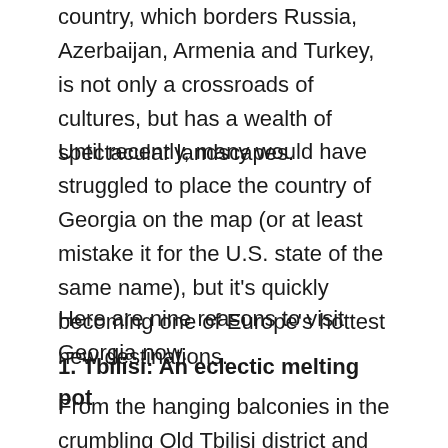country, which borders Russia, Azerbaijan, Armenia and Turkey, is not only a crossroads of cultures, but has a wealth of spectacular landscapes.
Until recently, many would have struggled to place the country of Georgia on the map (or at least mistake it for the U.S. state of the same name), but it's quickly becoming one of Europe's hottest new destinations.
Here are nine reasons to visit Georgia now.
1. Tbilisi: An eclectic melting pot
From the hanging balconies in the crumbling Old Tbilisi district and the Persian-style sulfur baths clad in turquoise mosaics, to unique art nouveau